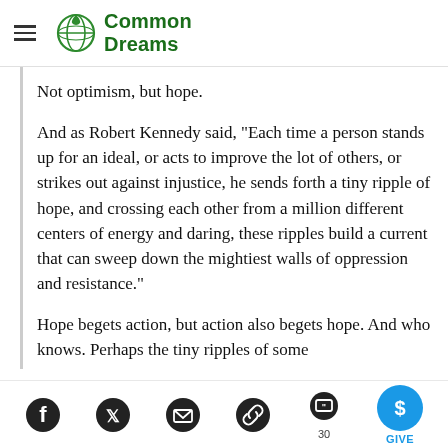Common Dreams
Not optimism, but hope.
And as Robert Kennedy said, "Each time a person stands up for an ideal, or acts to improve the lot of others, or strikes out against injustice, he sends forth a tiny ripple of hope, and crossing each other from a million different centers of energy and daring, these ripples build a current that can sweep down the mightiest walls of oppression and resistance."
Hope begets action, but action also begets hope. And who knows. Perhaps the tiny ripples of some 2,000 citizens willing to risk arrest are the
Social share icons: Facebook, Twitter, Email, Link, Comments (30), Give